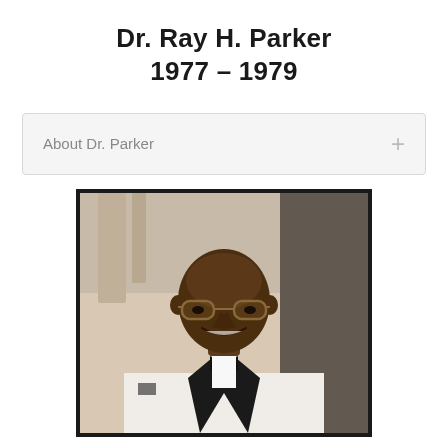Dr. Ray H. Parker 1977 – 1979
About Dr. Parker
[Figure (photo): Portrait photograph of Dr. Ray H. Parker wearing glasses, a white tuxedo jacket with black lapels, white dress shirt, and black bow tie, smiling in front of a building with columns.]